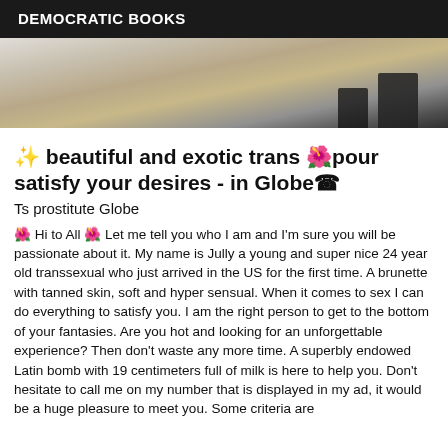DEMOCRATIC BOOKS
[Figure (photo): Partial photo showing a room with wooden floor and a person's legs/feet visible at the top right]
✨ beautiful and exotic trans 🌺pour satisfy your desires - in Globe☎
Ts prostitute Globe
🌺 Hi to All 🌺 Let me tell you who I am and I'm sure you will be passionate about it. My name is Jully a young and super nice 24 year old transsexual who just arrived in the US for the first time. A brunette with tanned skin, soft and hyper sensual. When it comes to sex I can do everything to satisfy you. I am the right person to get to the bottom of your fantasies. Are you hot and looking for an unforgettable experience? Then don't waste any more time. A superbly endowed Latin bomb with 19 centimeters full of milk is here to help you. Don't hesitate to call me on my number that is displayed in my ad, it would be a huge pleasure to meet you. Some criteria are